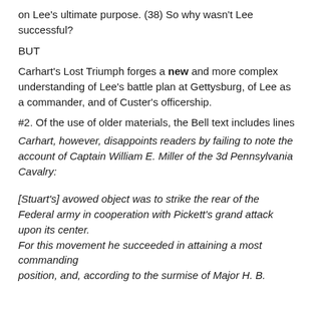on Lee's ultimate purpose. (38) So why wasn't Lee successful?
BUT
Carhart's Lost Triumph forges a new and more complex understanding of Lee's battle plan at Gettysburg, of Lee as a commander, and of Custer's officership.
#2. Of the use of older materials, the Bell text includes lines
Carhart, however, disappoints readers by failing to note the account of Captain William E. Miller of the 3d Pennsylvania Cavalry:
[Stuart's] avowed object was to strike the rear of the Federal army in cooperation with Pickett's grand attack upon its center.
For this movement he succeeded in attaining a most commanding
position, and, according to the surmise of Major H. B.